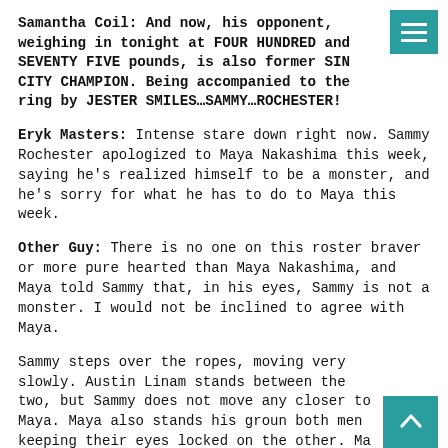Samantha Coil: And now, his opponent, weighing in tonight at FOUR HUNDRED and SEVENTY FIVE pounds, is also former SIN CITY CHAMPION. Being accompanied to the ring by JESTER SMILES…SAMMY…ROCHESTER!
Eryk Masters: Intense stare down right now. Sammy Rochester apologized to Maya Nakashima this week, saying he's realized himself to be a monster, and he's sorry for what he has to do to Maya this week.
Other Guy: There is no one on this roster braver or more pure hearted than Maya Nakashima, and Maya told Sammy that, in his eyes, Sammy is not a monster. I would not be inclined to agree with Maya.
Sammy steps over the ropes, moving very slowly. Austin Linam stands between the two, but Sammy does not move any closer to Maya. Maya also stands his ground, both men keeping their eyes locked on the other. Ma… the…